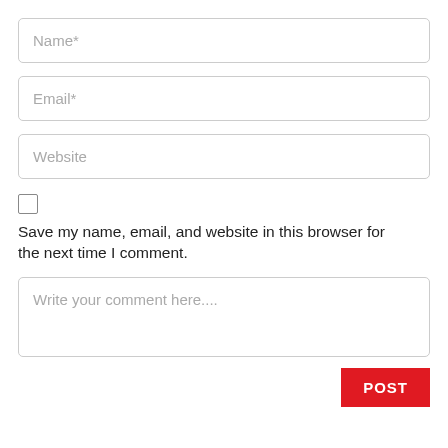Name*
Email*
Website
Save my name, email, and website in this browser for the next time I comment.
Write your comment here....
POST